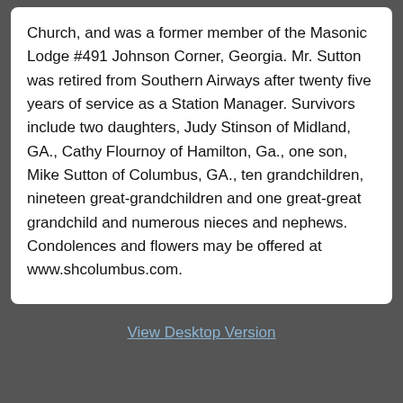Church, and was a former member of the Masonic Lodge #491 Johnson Corner, Georgia. Mr. Sutton was retired from Southern Airways after twenty five years of service as a Station Manager. Survivors include two daughters, Judy Stinson of Midland, GA., Cathy Flournoy of Hamilton, Ga., one son, Mike Sutton of Columbus, GA., ten grandchildren, nineteen great-grandchildren and one great-great grandchild and numerous nieces and nephews. Condolences and flowers may be offered at www.shcolumbus.com.
View Desktop Version